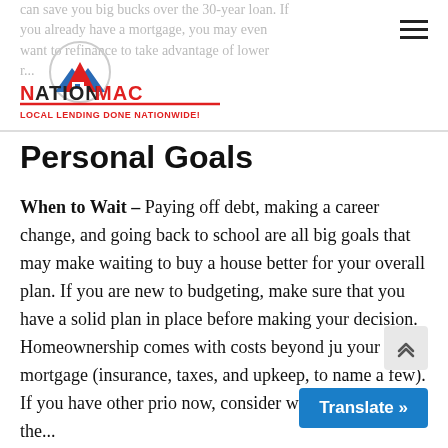can save you big bucks over the 30-year loan. If you already have a mortgage, you may even want to refinance to take advantage of lower r...
[Figure (logo): NationMac logo with house/mountain graphic and tagline LOCAL LENDING DONE NATIONWIDE!]
Personal Goals
When to Wait – Paying off debt, making a career change, and going back to school are all big goals that may make waiting to buy a house better for your overall plan. If you are new to budgeting, make sure that you have a solid plan in place before making your decision. Homeownership comes with costs beyond just your mortgage (insurance, taxes, and upkeep, to name a few). If you have other priorities now, consider waiting to make the...